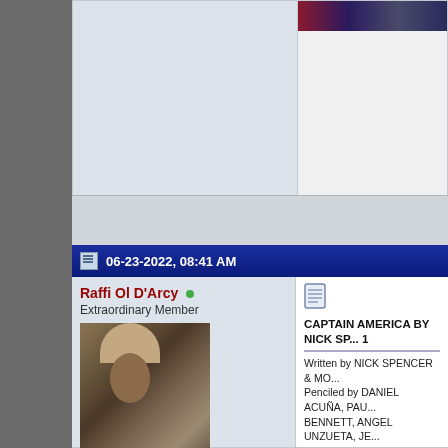06-23-2022, 08:41 AM
Raffi Ol D'Arcy
Extraordinary Member
Join Date: May 2014
Posts: 8,639
CAPTAIN AMERICA BY NICK SP... 1
Written by NICK SPENCER & MO...
Penciled by DANIEL ACUÑA, PAU...
BENNETT, ANGEL UNZUETA, JE...
MARK BAGLEY & MORE
Covers by JESÚS SAIZ & ALEX R...
Captain America! And in addition t...
the Serpent, he must contend with...
taking on Cap's mantle. But when...
learn the shocking truth of the tow...
everything changes again — and a...
returns as a second Captain Amer...
terrible secret. Is he a double age...
always been one?! As Sam battles...
navigates through the shadows —...